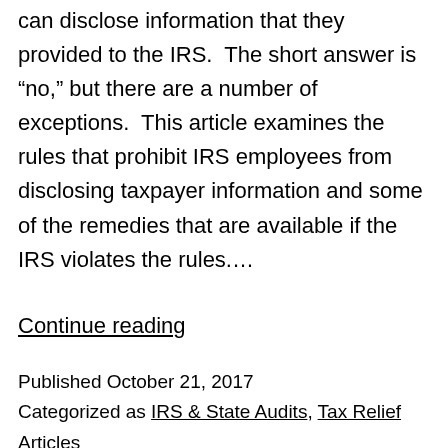can disclose information that they provided to the IRS.  The short answer is “no,” but there are a number of exceptions.  This article examines the rules that prohibit IRS employees from disclosing taxpayer information and some of the remedies that are available if the IRS violates the rules.…
Continue reading
Published October 21, 2017
Categorized as IRS & State Audits, Tax Relief Articles